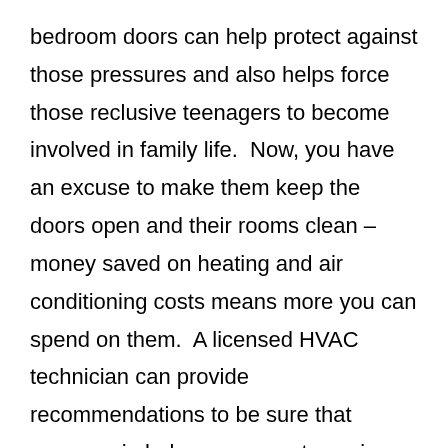bedroom doors can help protect against those pressures and also helps force those reclusive teenagers to become involved in family life.  Now, you have an excuse to make them keep the doors open and their rooms clean – money saved on heating and air conditioning costs means more you can spend on them.  A licensed HVAC technician can provide recommendations to be sure that pressure imbalances are not causing problems with your indoor air quality.
High Efficiency Air Filters
Another way to improve home air quality is to install new, high-efficiency air filters rather than the typical throw-away type that most homeowners use.  Understand, however, that even the best filter cannot totally eliminate visible dust, so installing the finest filter is not enough.